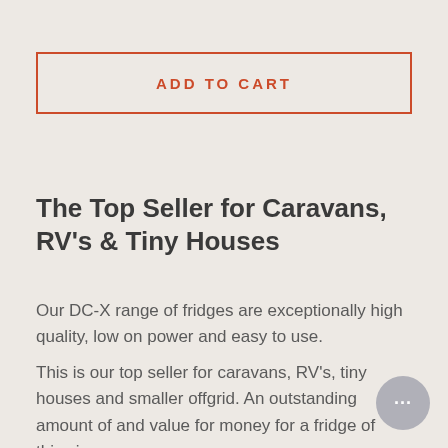[Figure (other): ADD TO CART button — outlined rectangle with terracotta/orange border and text]
The Top Seller for Caravans, RV's & Tiny Houses
Our DC-X range of fridges are exceptionally high quality, low on power and easy to use.
This is our top seller for caravans, RV's, tiny houses and smaller offgrid. An outstanding amount of and value for money for a fridge of this size.